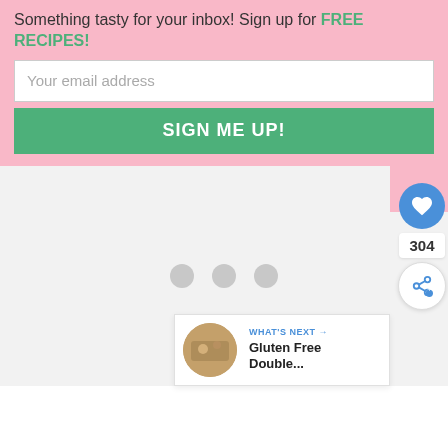Something tasty for your inbox! Sign up for FREE RECIPES!
Your email address
SIGN ME UP!
[Figure (screenshot): Loading spinner with three grey circles]
[Figure (infographic): Heart (like) button in blue circle]
304
[Figure (infographic): Share button in white circle]
WHAT'S NEXT → Gluten Free Double...